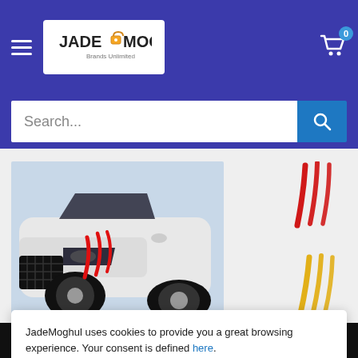[Figure (screenshot): JadeMoghul e-commerce website screenshot showing header with hamburger menu, logo, cart icon, search bar, product image of a white Audi with red claw scratch stickers, claw sticker color variants, and a cookie consent banner.]
JadeMoghul uses cookies to provide you a great browsing experience. Your consent is defined here.
Sure!